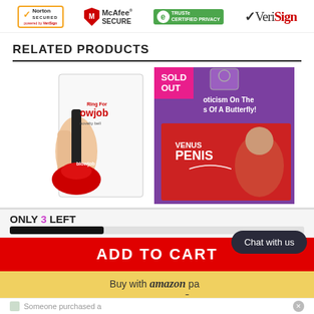[Figure (logo): Security trust badges: Norton Secured powered by VeriSign, McAfee SECURE, TRUSTe Certified Privacy, VeriSign]
RELATED PRODUCTS
[Figure (photo): Product image: Ring For Blowjob novelty bell toy in packaging, held by hand]
[Figure (photo): Product image: Venus Penis novelty product in purple/red packaging with SOLD OUT badge, text reads 'Eroticism On The Wings Of A Butterfly!']
ONLY 3 LEFT
ADD TO CART
Buy with amazon pay
Chat with us
Someone purchased a